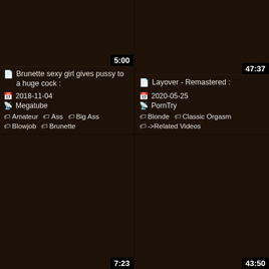[Figure (screenshot): Video thumbnail dark background top-left, duration 5:00]
Brunette sexy girl gives pussy to a huge cock :
2018-11-04
Megatube
Amateur  Ass  Big Ass  Blowjob  Brunette
[Figure (screenshot): Video thumbnail dark background top-right, duration 47:37]
Layover - Remastered :
2020-05-25
PornTry
Blonde  Classic Orgasm  ->Related Videos
[Figure (screenshot): Video thumbnail dark background bottom-left, duration 7:23]
[Figure (screenshot): Video thumbnail dark background bottom-right, duration 43:50]